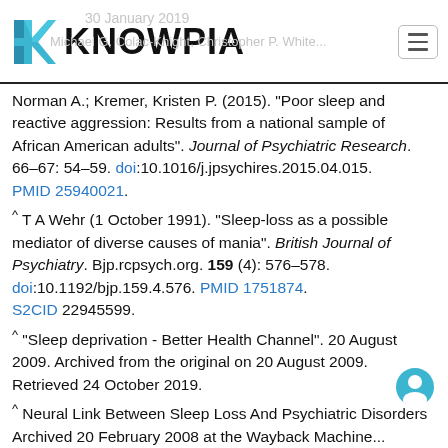KNOWPIA
Norman A.; Kremer, Kristen P. (2015). "Poor sleep and reactive aggression: Results from a national sample of African American adults". Journal of Psychiatric Research. 66–67: 54–59. doi:10.1016/j.jpsychires.2015.04.015. PMID 25940021.
^ T A Wehr (1 October 1991). "Sleep-loss as a possible mediator of diverse causes of mania". British Journal of Psychiatry. Bjp.rcpsych.org. 159 (4): 576–578. doi:10.1192/bjp.159.4.576. PMID 1751874. S2CID 22945599.
^ "Sleep deprivation - Better Health Channel". 20 August 2009. Archived from the original on 20 August 2009. Retrieved 24 October 2019.
^ Neural Link Between Sleep Loss And Psychiatric Disorders Archived 20 February 2008 at the Wayback Machine...